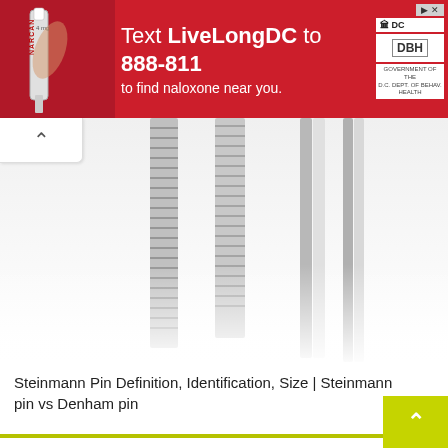[Figure (photo): Red advertisement banner: Text LiveLongDC to 888-811 to find naloxone near you, with DC government and DBH logos]
[Figure (photo): Close-up photograph of Steinmann pins (threaded metal surgical pins) arranged vertically against a white background]
Steinmann Pin Definition, Identification, Size | Steinmann pin vs Denham pin
LEAVE A REPLY
Your email address will not be published. Required fields are marked *
Comment